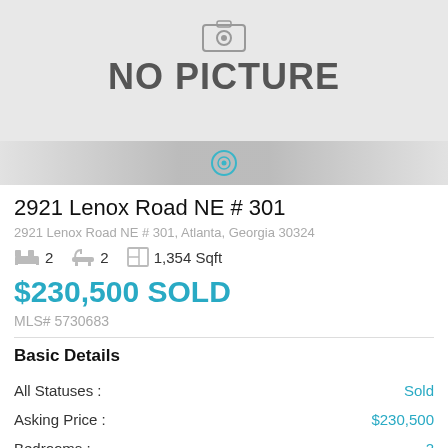[Figure (photo): No picture placeholder image with gradient bar and play/camera icon at bottom center]
2921 Lenox Road NE # 301
2921 Lenox Road NE # 301, Atlanta, Georgia 30324
2  2  1,354 Sqft
$230,500 SOLD
MLS# 5730683
Basic Details
All Statuses :  Sold
Asking Price :  $230,500
Bedrooms :  2